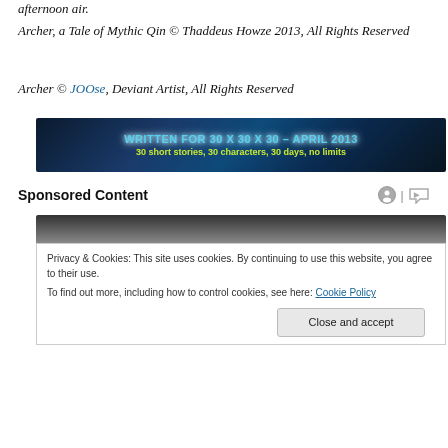afternoon air.
Archer, a Tale of Mythic Qin © Thaddeus Howze 2013, All Rights Reserved
Archer © JOOse, Deviant Artist, All Rights Reserved
[Figure (other): Banner image: WRITTEN FOR 30 X 30 X 30 - APRIL 2013 / 30 short stories, 30 characters, 30 days, no limits]
Sponsored Content
[Figure (photo): Partial image of a sponsored content photo, dark tones]
Privacy & Cookies: This site uses cookies. By continuing to use this website, you agree to their use.
To find out more, including how to control cookies, see here: Cookie Policy
Close and accept